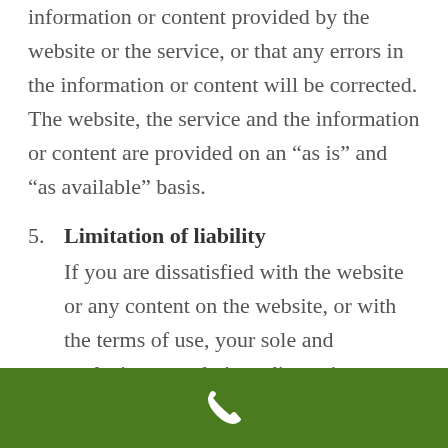information or content provided by the website or the service, or that any errors in the information or content will be corrected. The website, the service and the information or content are provided on an “as is” and “as available” basis.
5. Limitation of liability
If you are dissatisfied with the website or any content on the website, or with the terms of use, your sole and exclusive remedy is to discontinue using the website. You acknowledge, by your use of the
[Figure (other): Green footer bar with a white phone/call icon centered in it]